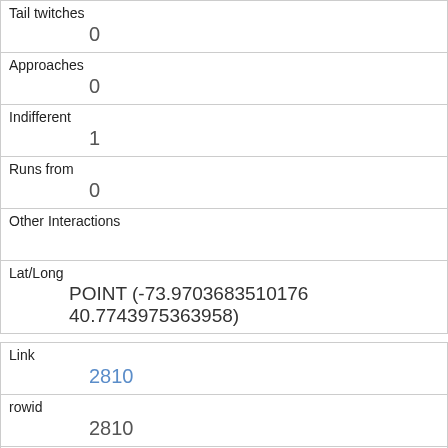| Tail twitches | 0 |
| Approaches | 0 |
| Indifferent | 1 |
| Runs from | 0 |
| Other Interactions |  |
| Lat/Long | POINT (-73.9703683510176 40.7743975363958) |
| Link | 2810 |
| rowid | 2810 |
| longitude | -73.9614659899028 |
| latitude | 40.7945562907624 |